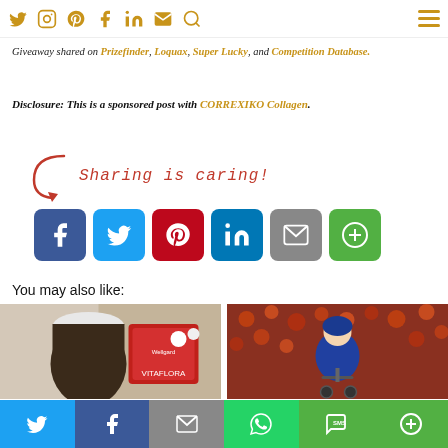Navigation bar with social icons and hamburger menu
Giveaway shared on Prizefinder, Loquax, Super Lucky, and Competition Database.
Disclosure: This is a sponsored post with CORREXIKO Collagen.
[Figure (infographic): Sharing is caring! section with social share buttons for Facebook, Twitter, Pinterest, LinkedIn, Email, and More]
You may also like:
[Figure (photo): Photo of Wellgard VitaFlora supplement products]
[Figure (photo): Photo of a child on a scooter in front of red flowers]
Bottom share bar with Twitter, Facebook, Email, WhatsApp, SMS, and More buttons